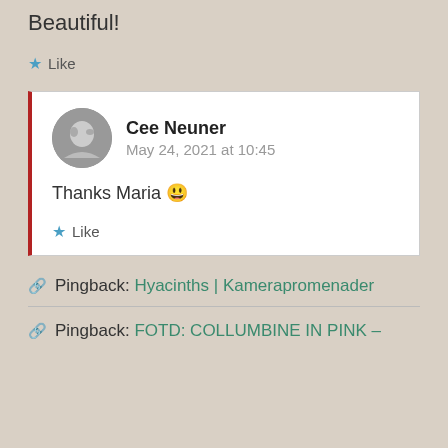Beautiful!
★ Like
Cee Neuner
May 24, 2021 at 10:45
Thanks Maria 😀
★ Like
Pingback: Hyacinths | Kamerapromenader
Pingback: FOTD: COLLUMBINE IN PINK –